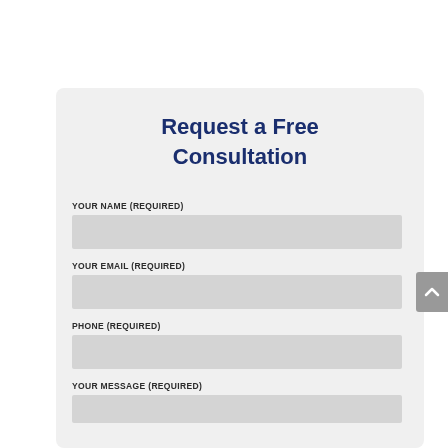Request a Free Consultation
YOUR NAME (REQUIRED)
YOUR EMAIL (REQUIRED)
PHONE (REQUIRED)
YOUR MESSAGE (REQUIRED)